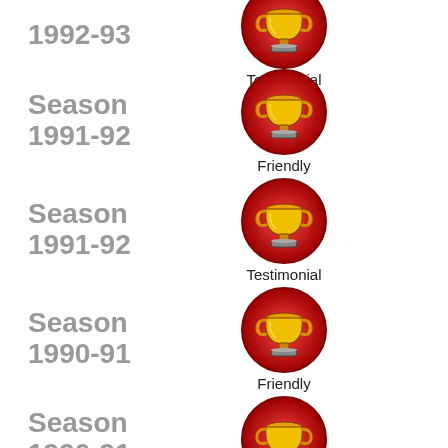1992-93
[Figure (illustration): Red circular trophy badge icon]
Testimonial
Season 1991-92
[Figure (illustration): Red circular trophy badge icon]
Friendly
Season 1991-92
[Figure (illustration): Red circular trophy badge icon]
Testimonial
Season 1990-91
[Figure (illustration): Red circular trophy badge icon]
Friendly
Season 1990-91
[Figure (illustration): Red circular trophy badge icon]
Testimonial
Season 1990-91
[Figure (illustration): Red circular trophy badge icon]